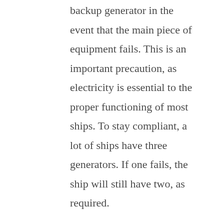backup generator in the event that the main piece of equipment fails. This is an important precaution, as electricity is essential to the proper functioning of most ships. To stay compliant, a lot of ships have three generators. If one fails, the ship will still have two, as required.

Most ships also have a main switchboard, from which workers operate various parts of the ship. The switchboard distributes power to lighting boards, smaller control panels, motor controls, emergency switchboards and other important